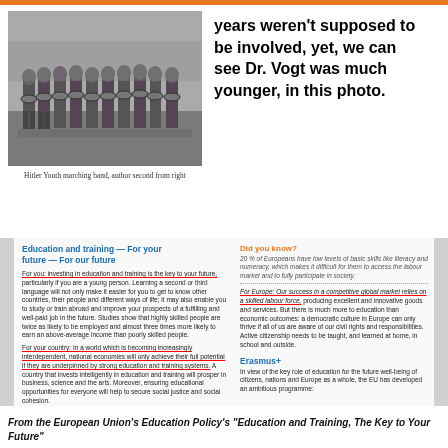[Figure (photo): Black and white photograph of Hitler Youth marching band, with the author identified as second from right.]
Hitler Youth marching band, author second from right
years weren't supposed to be involved, yet, we can see Dr. Vogt was much younger, in this photo.
[Figure (screenshot): Screenshot of European Union Education Policy document titled 'Education and training — For your future — For our future' with highlighted text about education benefits for individuals, countries, Europe, and an Erasmus+ section on the right.]
From the European Union's Education Policy's "Education and Training, The Key to Your Future"